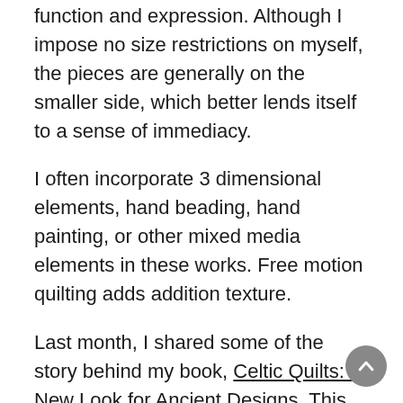function and expression. Although I impose no size restrictions on myself, the pieces are generally on the smaller side, which better lends itself to a sense of immediacy.
I often incorporate 3 dimensional elements, hand beading, hand painting, or other mixed media elements in these works. Free motion quilting adds addition texture.
Last month, I shared some of the story behind my book, Celtic Quilts: A New Look for Ancient Designs. This month, I would like to share some of my original and